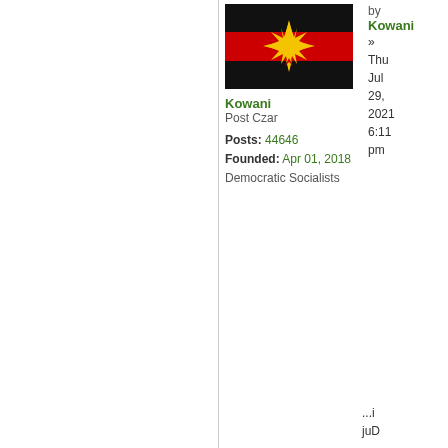[Figure (illustration): Flag image showing black-red-black horizontal stripes with a yellow sun/star burst in the center]
Kowani
Post Czar

Posts: 44646
Founded: Apr 01, 2018
Democratic Socialists
by Kowani » Thu Jul 29, 2021 6:11 pm
...i
juD